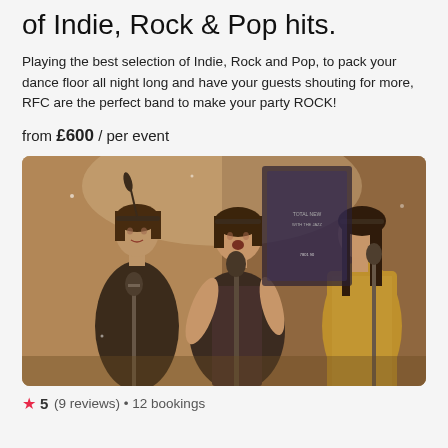of Indie, Rock & Pop hits.
Playing the best selection of Indie, Rock and Pop, to pack your dance floor all night long and have your guests shouting for more, RFC are the perfect band to make your party ROCK!
from £600 / per event
[Figure (photo): Three women dressed in 1920s flapper-style costumes performing on stage. The woman on the left wears a black dress with a feathered headband and stands at a vintage microphone. The woman in the middle wears a beaded black and gold dress. The woman on the right wears a gold sequined dress. The photo has a warm sepia tone.]
5 (9 reviews) • 12 bookings